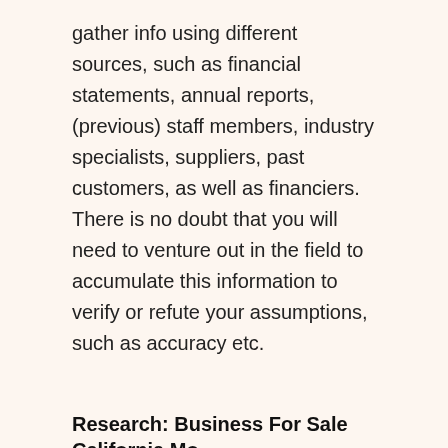gather info using different sources, such as financial statements, annual reports, (previous) staff members, industry specialists, suppliers, past customers, as well as financiers. There is no doubt that you will need to venture out in the field to accumulate this information to verify or refute your assumptions, such as accuracy etc.
Research: Business For Sale California Mo
You need to head out on the area to gather intangible data. This consists of the following: a company background, an organization's culture, the quality of its item stock, the loyalty of its clients, your area of fulfillment, and the health...